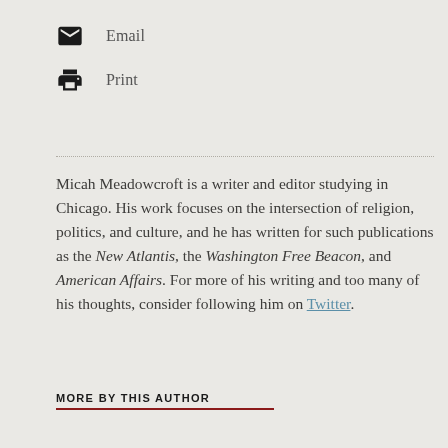Email
Print
Micah Meadowcroft is a writer and editor studying in Chicago. His work focuses on the intersection of religion, politics, and culture, and he has written for such publications as the New Atlantis, the Washington Free Beacon, and American Affairs. For more of his writing and too many of his thoughts, consider following him on Twitter.
MORE BY THIS AUTHOR